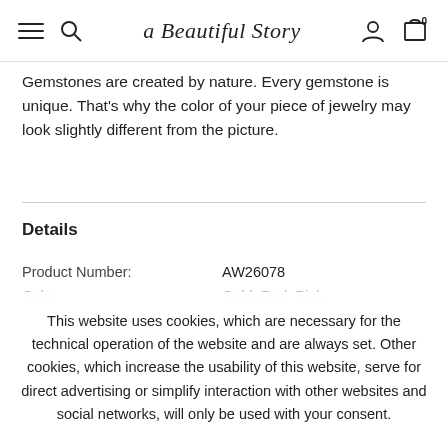a Beautiful Story — navigation header with menu, search, user, and cart icons
Gemstones are created by nature. Every gemstone is unique. That's why the color of your piece of jewelry may look slightly different from the picture.
Details
| Field | Value |
| --- | --- |
| Product Number: | AW26078 |
| Color: | Gold, Red, Pink |
This website uses cookies, which are necessary for the technical operation of the website and are always set. Other cookies, which increase the usability of this website, serve for direct advertising or simplify interaction with other websites and social networks, will only be used with your consent.